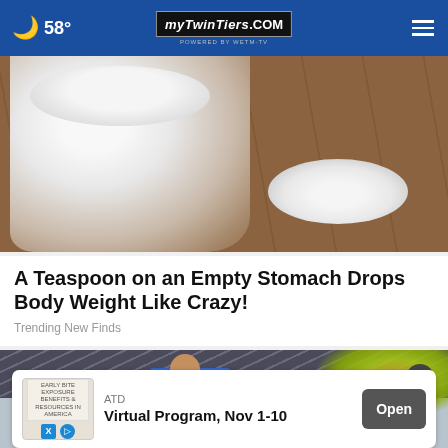58° mytwintiers.com
[Figure (photo): A glass jar filled with white powder next to a small pile of white powder on a wooden surface]
A Teaspoon on an Empty Stomach Drops Body Weight Like Crazy!
Trending New Finds
[Figure (photo): A worker in a blue shirt and yellow safety vest working on a roof]
ATD Virtual Program, Nov 1-10